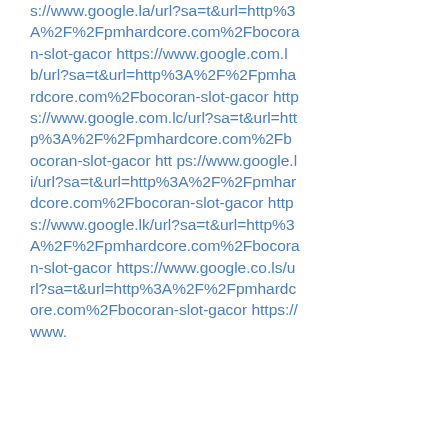s://www.google.la/url?sa=t&url=http%3A%2F%2Fpmhardcore.com%2Fbocoran-slot-gacor https://www.google.com.lb/url?sa=t&url=http%3A%2F%2Fpmhardcore.com%2Fbocoran-slot-gacor https://www.google.com.lc/url?sa=t&url=http%3A%2F%2Fpmhardcore.com%2Fbocoran-slot-gacor https://www.google.li/url?sa=t&url=http%3A%2F%2Fpmhardcore.com%2Fbocoran-slot-gacor https://www.google.lk/url?sa=t&url=http%3A%2F%2Fpmhardcore.com%2Fbocoran-slot-gacor https://www.google.co.ls/url?sa=t&url=http%3A%2F%2Fpmhardcore.com%2Fbocoran-slot-gacor https://www.